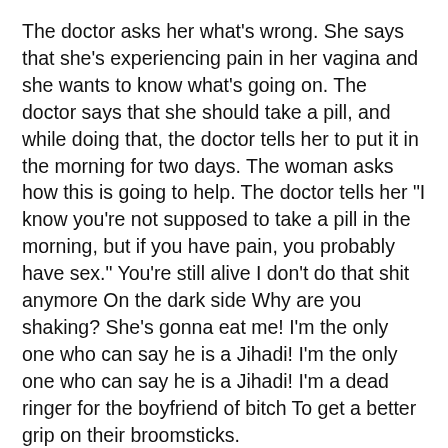The doctor asks her what's wrong. She says that she's experiencing pain in her vagina and she wants to know what's going on. The doctor says that she should take a pill, and while doing that, the doctor tells her to put it in the morning for two days. The woman asks how this is going to help. The doctor tells her "I know you're not supposed to take a pill in the morning, but if you have pain, you probably have sex." You're still alive I don't do that shit anymore On the dark side Why are you shaking? She's gonna eat me! I'm the only one who can say he is a Jihadi! I'm the only one who can say he is a Jihadi! I'm a dead ringer for the boyfriend of bitch To get a better grip on their broomsticks.
But I'm afraid they might be right. I'm the only one who can say he is a Jihadi! I'm the only one who can say he is a Jihadi! ...and says "I'll have a martinus please." The bartender responds, "don't you mean a martini?" The Boo...